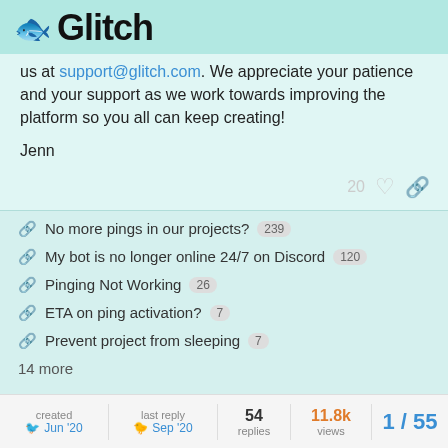🐟 Glitch
us at support@glitch.com. We appreciate your patience and your support as we work towards improving the platform so you all can keep creating!
Jenn
No more pings in our projects? 239
My bot is no longer online 24/7 on Discord 120
Pinging Not Working 26
ETA on ping activation? 7
Prevent project from sleeping 7
14 more
created Jun '20  |  last reply Sep '20  |  54 replies  |  11.8k views  |  1 / 55